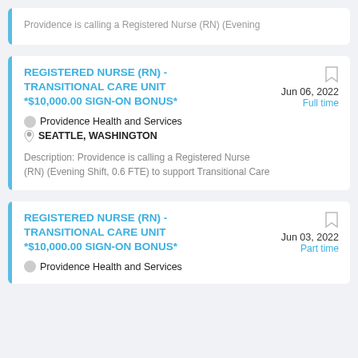Providence is calling a Registered Nurse (RN) (Evening
REGISTERED NURSE (RN) - TRANSITIONAL CARE UNIT *$10,000.00 SIGN-ON BONUS*
Jun 06, 2022 Full time
Providence Health and Services
SEATTLE, WASHINGTON
Description: Providence is calling a Registered Nurse (RN) (Evening Shift, 0.6 FTE) to support Transitional Care
REGISTERED NURSE (RN) - TRANSITIONAL CARE UNIT *$10,000.00 SIGN-ON BONUS*
Jun 03, 2022 Part time
Providence Health and Services